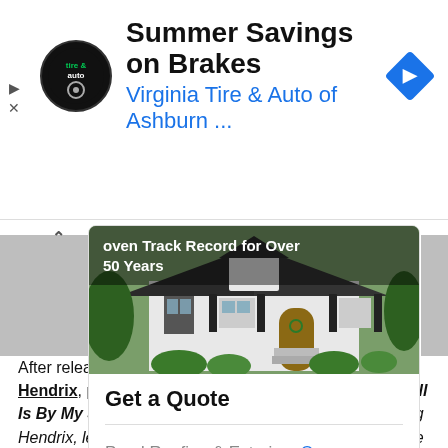[Figure (screenshot): Ad banner for Virginia Tire & Auto of Ashburn with circular logo and navigation arrow icon]
Summer Savings on Brakes
Virginia Tire & Auto of Ashburn ...
[Figure (photo): Roofing advertisement widget showing a white house with dark shutters and text overlay reading 'Proven Track Record for Over 50 Years']
Get a Quote
Pond Roofing & Exteriors Open >
After releasing the first clip of Andre 3000 as Jimi Hendrix, producer Danny Bramson for Jimi Hendrix: All Is By My Side, told Billboard. The idea of anyone playing Hendrix, let alone a right-handed guitarist, was one of the